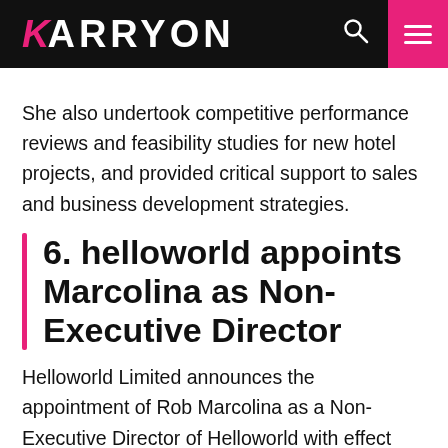KARRYON
She also undertook competitive performance reviews and feasibility studies for new hotel projects, and provided critical support to sales and business development strategies.
6. helloworld appoints Marcolina as Non-Executive Director
Helloworld Limited announces the appointment of Rob Marcolina as a Non-Executive Director of Helloworld with effect from 18 September 2015.
Rob is Group Executive Strategy Transformation